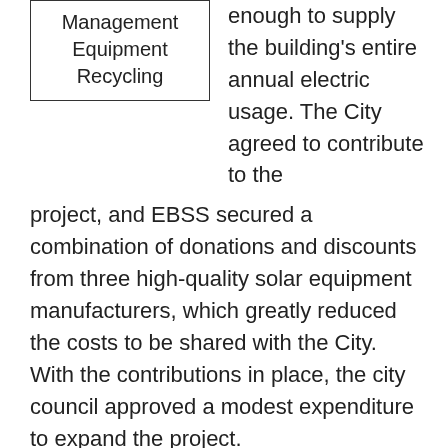[Figure (other): Box with text: Management Equipment Recycling]
enough to supply the building's entire annual electric usage. The City agreed to contribute to the project, and EBSS secured a combination of donations and discounts from three high-quality solar equipment manufacturers, which greatly reduced the costs to be shared with the City. With the contributions in place, the city council approved a modest expenditure to expand the project.
Donations and discounts were received from SolarWorld, ProSolar, Quick Mount PV and Miner's Ace Hardware. The system consists of 23 SolarWorld 260-watt panels (for a total system size of 5.98 kilowatts) installed on ProSolar rails and